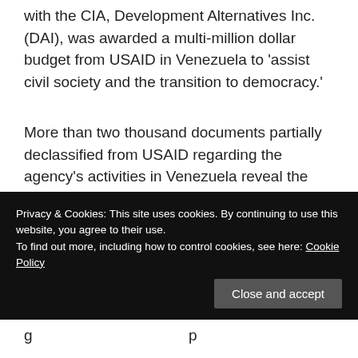with the CIA, Development Alternatives Inc. (DAI), was awarded a multi-million dollar budget from USAID in Venezuela to 'assist civil society and the transition to democracy.'
More than two thousand documents partially declassified from USAID regarding the agency's activities in Venezuela reveal the relationship between DAI and sectors of the Venezuelan opposition that have actively been involved in coup d'etats, violent demonstrations and other destabilization attempts against President Chavez.
Privacy & Cookies: This site uses cookies. By continuing to use this website, you agree to their use.
To find out more, including how to control cookies, see here: Cookie Policy
Close and accept